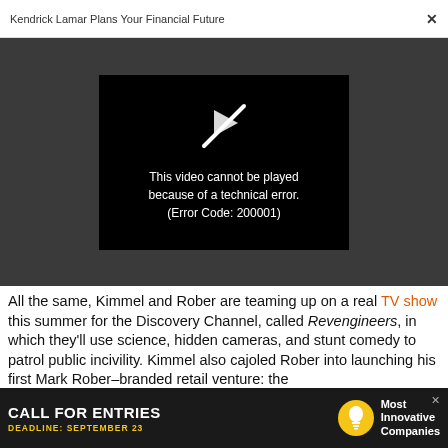Kendrick Lamar Plans Your Financial Future  ×
[Figure (screenshot): Video player showing error: 'This video cannot be played because of a technical error. (Error Code: 200001)' with a broken play icon on black background, set within a dark gray overlay area.]
All the same, Kimmel and Rober are teaming up on a real TV show this summer for the Discovery Channel, called Revengineers, in which they'll use science, hidden cameras, and stunt comedy to patrol public incivility. Kimmel also cajoled Rober into launching his first Mark Rober–branded retail venture: the
[Figure (screenshot): Advertisement banner: 'CALL FOR ENTRIES' with 'DEADLINE: SEPTEMBER 23' in yellow, lightbulb icon, 'Most Innovative Companies' in white text on dark background.]